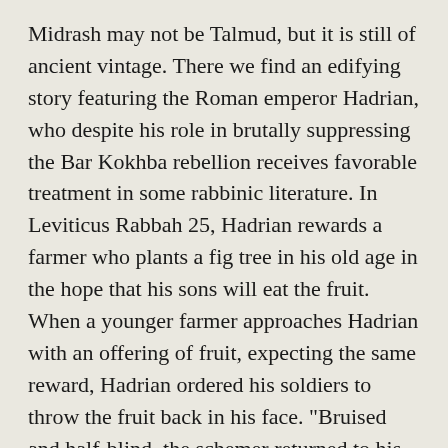Midrash may not be Talmud, but it is still of ancient vintage. There we find an edifying story featuring the Roman emperor Hadrian, who despite his role in brutally suppressing the Bar Kokhba rebellion receives favorable treatment in some rabbinic literature. In Leviticus Rabbah 25, Hadrian rewards a farmer who plants a fig tree in his old age in the hope that his sons will eat the fruit. When a younger farmer approaches Hadrian with an offering of fruit, expecting the same reward, Hadrian ordered his soldiers to throw the fruit back in his face. "Bruised and half-blind, the schemer returned to his home. 'How did you fare,' asked his wife greedily. 'I fared excellently,' replied the husband. "Had I taken citrons, I would have died of the blows.""